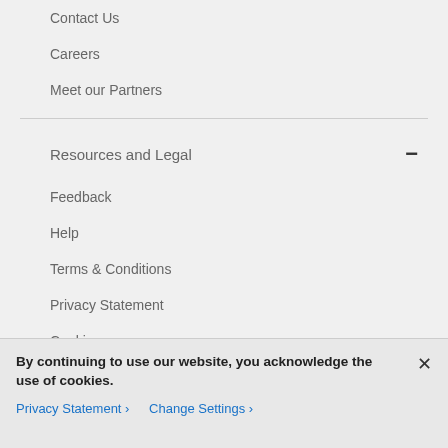Contact Us
Careers
Meet our Partners
Resources and Legal
Feedback
Help
Terms & Conditions
Privacy Statement
Cookies
By continuing to use our website, you acknowledge the use of cookies.
Privacy Statement > Change Settings >